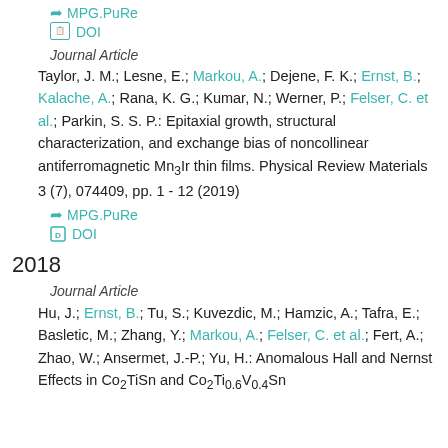MPG.PuRe (link, top, truncated)
DOI (link)
Journal Article
Taylor, J. M.; Lesne, E.; Markou, A.; Dejene, F. K.; Ernst, B.; Kalache, A.; Rana, K. G.; Kumar, N.; Werner, P.; Felser, C. et al.; Parkin, S. S. P.: Epitaxial growth, structural characterization, and exchange bias of noncollinear antiferromagnetic Mn3Ir thin films. Physical Review Materials 3 (7), 074409, pp. 1 - 12 (2019)
MPG.PuRe (link)
DOI (link)
2018
Journal Article
Hu, J.; Ernst, B.; Tu, S.; Kuvezdic, M.; Hamzic, A.; Tafra, E.; Basletic, M.; Zhang, Y.; Markou, A.; Felser, C. et al.; Fert, A.; Zhao, W.; Ansermet, J.-P.; Yu, H.: Anomalous Hall and Nernst Effects in Co2TiSn and Co2Ti0.6V0.4Sn